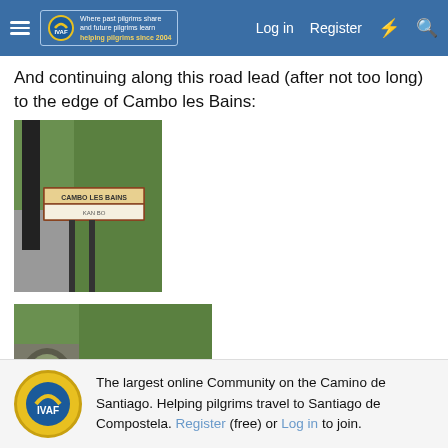Pilgrim forum header with logo, Log in, Register, and search icons
And continuing along this road lead (after not too long) to the edge of Cambo les Bains:
[Figure (photo): Road sign reading CAMBO LES BAINS / KANBO beside a rural road with trees and vegetation]
[Figure (photo): Rural road with green vegetation and a stone bridge arch on the left side]
The largest online Community on the Camino de Santiago. Helping pilgrims travel to Santiago de Compostela. Register (free) or Log in to join.